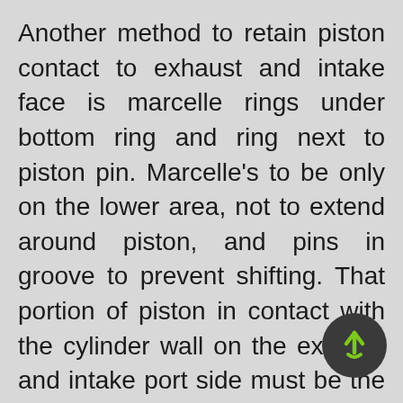Another method to retain piston contact to exhaust and intake face is marcelle rings under bottom ring and ring next to piston pin. Marcelle's to be only on the lower area, not to extend around piston, and pins in groove to prevent shifting. That portion of piston in contact with the cylinder wall on the exhaust and intake port side must be the same diameter as the cylinder bore when the engine is hot at running temperature. The side opposite the intake and exhaust ports (cylinder ...
[Figure (other): Green upward arrow icon in a dark circular button, positioned at bottom-right corner]